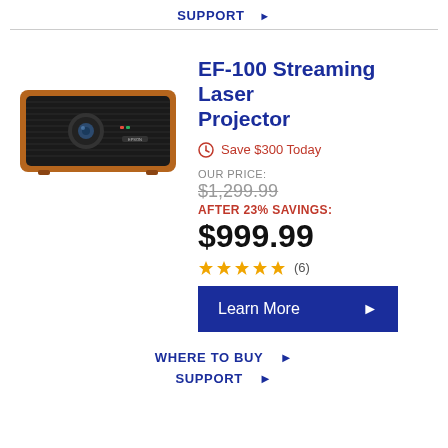SUPPORT ▶
[Figure (photo): Epson EF-100 Streaming Laser Projector product photo — compact black projector with orange/brown wooden frame]
EF-100 Streaming Laser Projector
🕐 Save $300 Today
OUR PRICE: $1,299.99 AFTER 23% SAVINGS: $999.99
★★★★★ (6)
Learn More ▶
WHERE TO BUY ▶
SUPPORT ▶